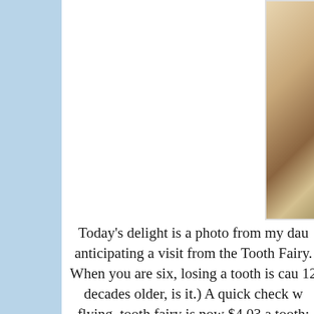[Figure (photo): Close-up photo of a child's hand holding a tooth, placed on what appears to be a pillow or envelope, with woven material visible in the lower right corner.]
Today's delight is a photo from my dau anticipating a visit from the Tooth Fairy. When you are six, losing a tooth is cau 12 decades older, is it.) A quick check w flying  tooth fairy is now $4.03 a tooth;